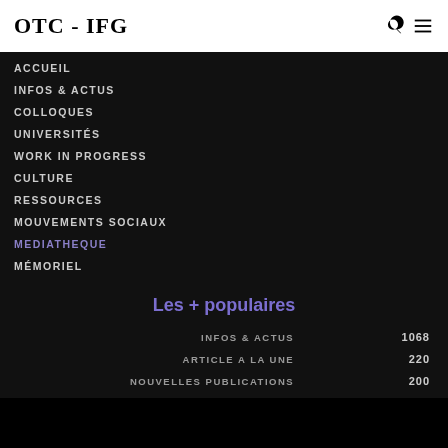OTC - IFG
ACCUEIL
INFOS & ACTUS
COLLOQUES
UNIVERSITÉS
WORK IN PROGRESS
CULTURE
RESSOURCES
MOUVEMENTS SOCIAUX
MEDIATHEQUE
MÉMORIEL
Les + populaires
| Category | Count |
| --- | --- |
| INFOS & ACTUS | 1068 |
| ARTICLE A LA UNE | 220 |
| NOUVELLES PUBLICATIONS | 200 |